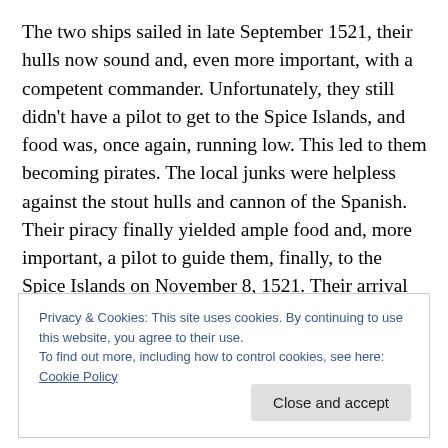The two ships sailed in late September 1521, their hulls now sound and, even more important, with a competent commander. Unfortunately, they still didn't have a pilot to get to the Spice Islands, and food was, once again, running low. This led to them becoming pirates. The local junks were helpless against the stout hulls and cannon of the Spanish. Their piracy finally yielded ample food and, more important, a pilot to guide them, finally, to the Spice Islands on November 8, 1521. Their arrival ended a sorry period for the circumnavigation. About the only good thing
Privacy & Cookies: This site uses cookies. By continuing to use this website, you agree to their use.
To find out more, including how to control cookies, see here: Cookie Policy